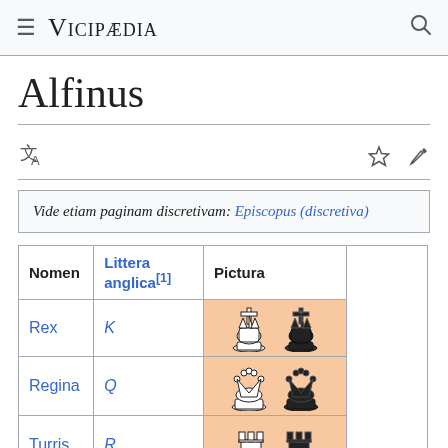Vicipaedia
Alfinus
Vide etiam paginam discretivam: Episcopus (discretiva)
| Nomen | Littera anglica[1] | Pictura |  |
| --- | --- | --- | --- |
| Rex | K | [chess king images] |  |
| Regina | Q | [chess queen images] |  |
| Turris | R | [chess rook images] |  |
| Alfinus | B | [chess bishop images] |  |